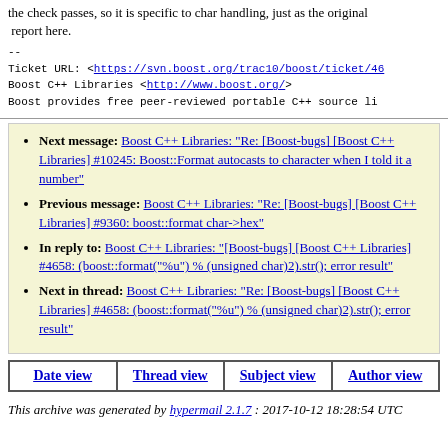the check passes, so it is specific to char handling, just as the original
 report here.
--
Ticket URL: <https://svn.boost.org/trac10/boost/ticket/46
Boost C++ Libraries <http://www.boost.org/>
Boost provides free peer-reviewed portable C++ source li
Next message: Boost C++ Libraries: "Re: [Boost-bugs] [Boost C++ Libraries] #10245: Boost::Format autocasts to character when I told it a number"
Previous message: Boost C++ Libraries: "Re: [Boost-bugs] [Boost C++ Libraries] #9360: boost::format char->hex"
In reply to: Boost C++ Libraries: "[Boost-bugs] [Boost C++ Libraries] #4658: (boost::format("%u") % (unsigned char)2).str(); error result"
Next in thread: Boost C++ Libraries: "Re: [Boost-bugs] [Boost C++ Libraries] #4658: (boost::format("%u") % (unsigned char)2).str(); error result"
Date view | Thread view | Subject view | Author view
This archive was generated by hypermail 2.1.7 : 2017-10-12 18:28:54 UTC